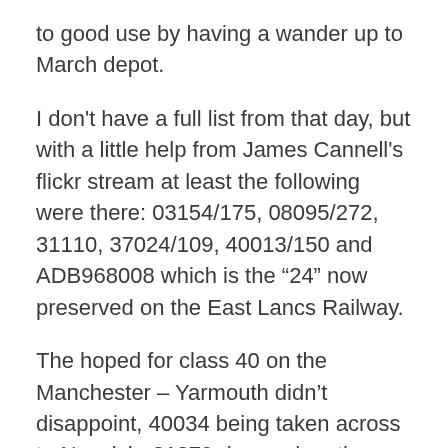to good use by having a wander up to March depot.
I don't have a full list from that day, but with a little help from James Cannell's flickr stream at least the following were there: 03154/175, 08095/272, 31110, 37024/109, 40013/150 and ADB968008 which is the “24” now preserved on the East Lancs Railway.
The hoped for class 40 on the Manchester – Yarmouth didn’t disappoint, 40034 being taken across to Norwich. 31279 dropped on the rear at Norwich for the final 20 odd miles across to Yarmouth.
The options for returning west were the Birmingham (47567), Chestefield (31142) or waiting for the Manchester (40034). As 31142 was a winner I came back with that and then tried my luck with a trip to Audley